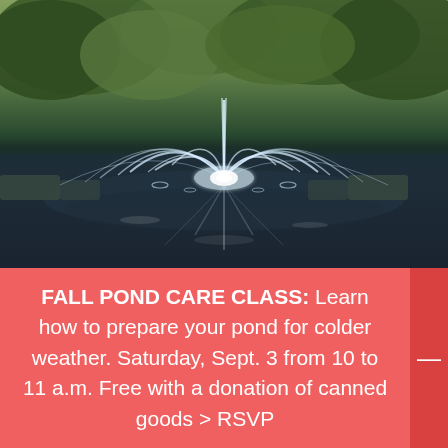[Figure (photo): A decorative fountain in a pond with water spraying upward and outward in a fan pattern, surrounded by trees and grass in the background. The reflection of the fountain is visible in the still water.]
FALL POND CARE CLASS: Learn how to prepare your pond for colder weather. Saturday, Sept. 3 from 10 to 11 a.m. Free with a donation of canned goods > RSVP